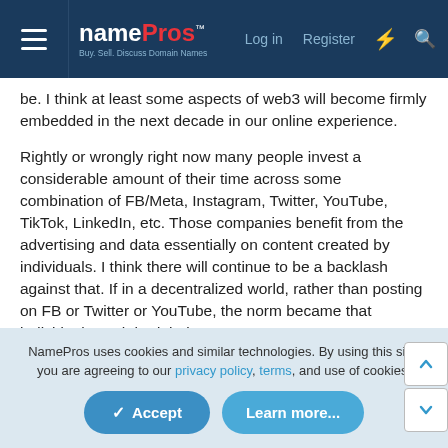namePros - Buy. Sell. Discuss Domain Names. | Log in | Register
be. I think at least some aspects of web3 will become firmly embedded in the next decade in our online experience.
Rightly or wrongly right now many people invest a considerable amount of their time across some combination of FB/Meta, Instagram, Twitter, YouTube, TikTok, LinkedIn, etc. Those companies benefit from the advertising and data essentially on content created by individuals. I think there will continue to be a backlash against that. If in a decentralized world, rather than posting on FB or Twitter or YouTube, the norm became that individuals each had their own personal 'site' (yes on some sort of domain name), they controlled who could interact, and seamless payment, and rich and easy interactions, in control of their own destiny, it
NamePros uses cookies and similar technologies. By using this site, you are agreeing to our privacy policy, terms, and use of cookies.